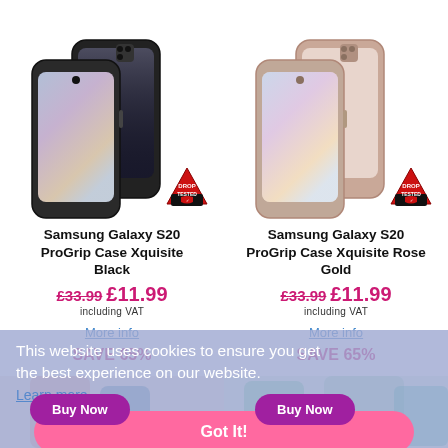[Figure (photo): Samsung Galaxy S20 ProGrip Case Xquisite Black phone case product photo with Drop Tested badge]
[Figure (photo): Samsung Galaxy S20 ProGrip Case Xquisite Rose Gold phone case product photo with Drop Tested badge]
Samsung Galaxy S20 ProGrip Case Xquisite Black
Samsung Galaxy S20 ProGrip Case Xquisite Rose Gold
£33.99 £11.99 including VAT
£33.99 £11.99 including VAT
Buy Now
Buy Now
More info
More info
SAVE 65%
SAVE 65%
This website uses cookies to ensure you get the best experience on our website.
Learn more
Got It!
[Figure (photo): Partial bottom-row phone case product images]
[Figure (photo): Partial bottom-row phone case product images right column]